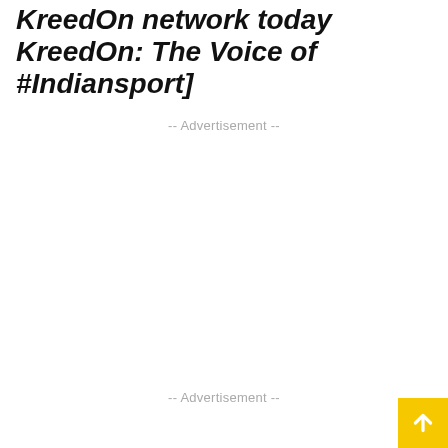KreedOn network today KreedOn: The Voice of #Indiansport]
-- Advertisement --
-- Advertisement --